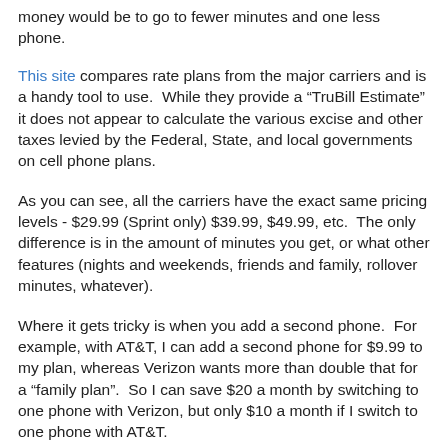money would be to go to fewer minutes and one less phone.
This site compares rate plans from the major carriers and is a handy tool to use.  While they provide a "TruBill Estimate" it does not appear to calculate the various excise and other taxes levied by the Federal, State, and local governments on cell phone plans.
As you can see, all the carriers have the exact same pricing levels - $29.99 (Sprint only) $39.99, $49.99, etc.  The only difference is in the amount of minutes you get, or what other features (nights and weekends, friends and family, rollover minutes, whatever).
Where it gets tricky is when you add a second phone.  For example, with AT&T, I can add a second phone for $9.99 to my plan, whereas Verizon wants more than double that for a "family plan".  So I can save $20 a month by switching to one phone with Verizon, but only $10 a month if I switch to one phone with AT&T.
And of course, there is signal strength and service to consider.  Most of my friends get great service with Verizon